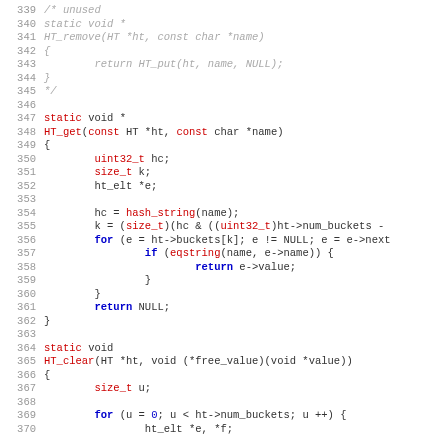Source code listing lines 339–370, C language, showing HT_remove (commented out), HT_get, and HT_clear functions.